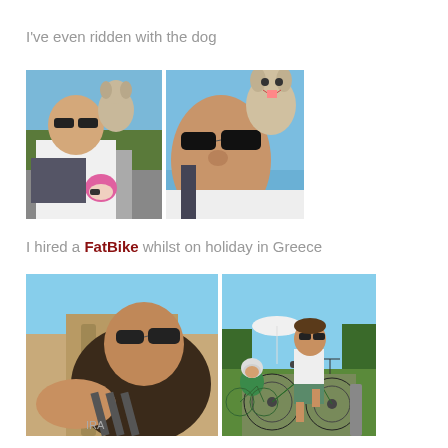I've even ridden with the dog
[Figure (photo): Two photos side by side: man with a small dog in a backpack while cycling, child with pink helmet in background; second photo close-up selfie of man and dog looking at camera against blue sky]
I hired a FatBike whilst on holiday in Greece
[Figure (photo): Two photos side by side: selfie of man riding fat bike on sandy path; man sitting on fat bike with child on small bike, resort/beach in background]